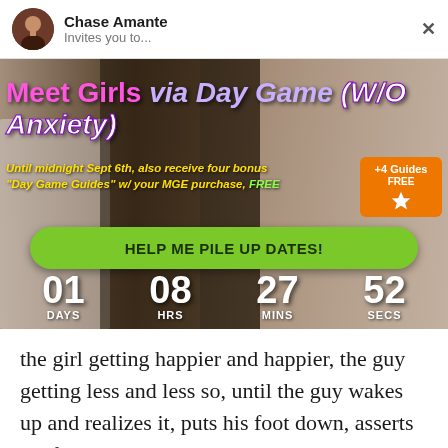Chase Amante
Invites you to...
[Figure (screenshot): Promotional banner for 'Meet Girls via Day Game (W/O Anxiety)' with countdown timer showing 01 DAYS, 08 HRS, 27 MINS, 52 SECS, a green CTA button 'HELP ME PILE UP DATES!', and an orange badge '+4 Guides FREE']
the girl getting happier and happier, the guy getting less and less so, until the guy wakes up and realizes it, puts his foot down, asserts his freedom, and then the woman sours, they start fighting, and ensues a tumultuous period followed by